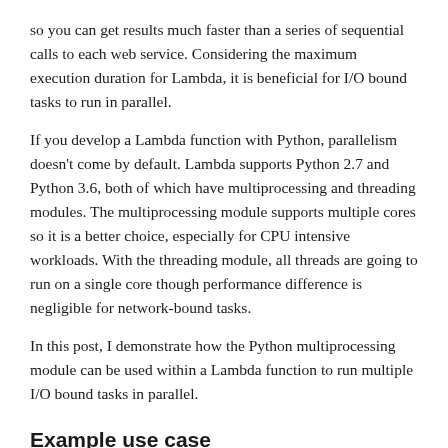so you can get results much faster than a series of sequential calls to each web service. Considering the maximum execution duration for Lambda, it is beneficial for I/O bound tasks to run in parallel.
If you develop a Lambda function with Python, parallelism doesn't come by default. Lambda supports Python 2.7 and Python 3.6, both of which have multiprocessing and threading modules. The multiprocessing module supports multiple cores so it is a better choice, especially for CPU intensive workloads. With the threading module, all threads are going to run on a single core though performance difference is negligible for network-bound tasks.
In this post, I demonstrate how the Python multiprocessing module can be used within a Lambda function to run multiple I/O bound tasks in parallel.
Example use case
In this example, you call Amazon EC2 and Amazon EBS API operations to find the total EBS volume size for all your EC2 instances in a region.